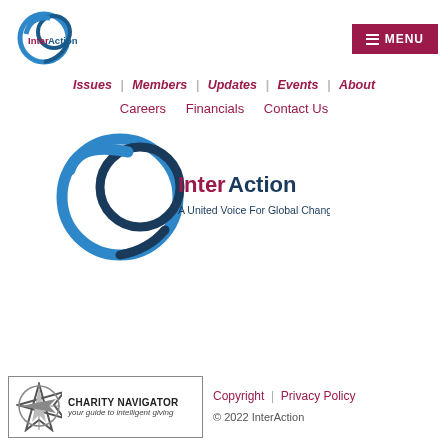[Figure (logo): InterAction logo - circular blue globe icon with InterAction text]
MENU
Issues | Members | Updates | Events | About
Careers   Financials   Contact Us
[Figure (logo): InterAction large logo - blue circular globe with InterAction text and tagline 'A United Voice For Global Change']
[Figure (logo): Charity Navigator badge - your guide to intelligent giving]
Copyright | Privacy Policy © 2022 InterAction